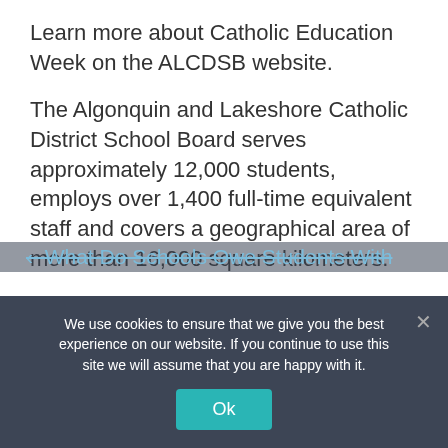Learn more about Catholic Education Week on the ALCDSB website.
The Algonquin and Lakeshore Catholic District School Board serves approximately 12,000 students, employs over 1,400 full-time equivalent staff and covers a geographical area of more than 16,000 square kilometers.
education week
What Do Schools Owe Students With
We use cookies to ensure that we give you the best experience on our website. If you continue to use this site we will assume that you are happy with it.